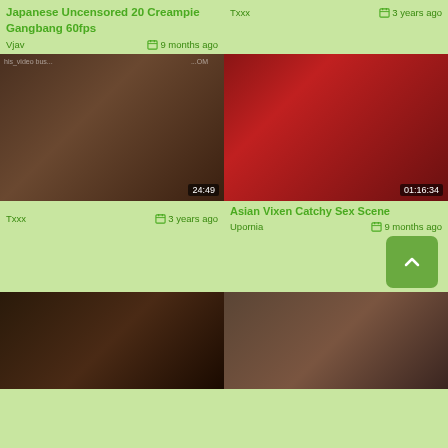Japanese Uncensored 20 Creampie Gangbang 60fps
Vjav   9 months ago
Txxx   3 years ago
[Figure (photo): Video thumbnail with duration 24:49]
[Figure (photo): Video thumbnail with duration 01:16:34]
Txxx   3 years ago
Asian Vixen Catchy Sex Scene
Upornia   9 months ago
[Figure (photo): Video thumbnail bottom left]
[Figure (photo): Video thumbnail bottom right]